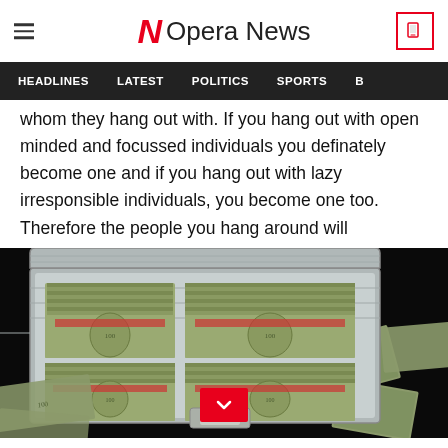Opera News
HEADLINES  LATEST  POLITICS  SPORTS
whom they hang out with. If you hang out with open minded and focussed individuals you definately become one and if you hang out with lazy irresponsible individuals, you become one too. Therefore the people you hang around will determine if finding money is easy or hard.
[Figure (photo): A metallic briefcase open and filled with stacks of US $100 dollar bills, with more bills scattered around it on a dark surface.]